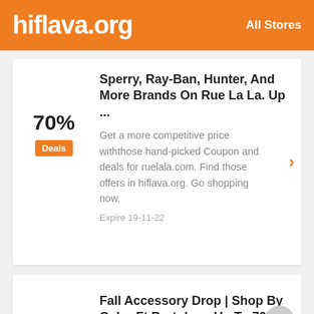hiflava.org   All Stores
Sperry, Ray-Ban, Hunter, And More Brands On Rue La La. Up ...
Get a more competitive price withthose hand-picked Coupon and deals for ruelala.com. Find those offers in hiflava.org. Go shopping now.
Expire 19-11-22
Fall Accessory Drop | Shop By Color Ft Portolano Up To 70%...
Get this trusted discount with this Rue La La Coupon Code for August 2022. Get low prices on discontinued products with verified